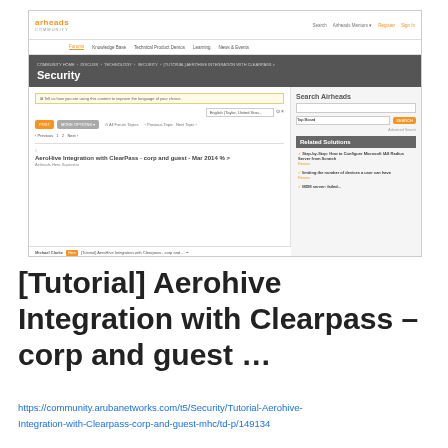[Figure (screenshot): Screenshot of the Airheads Community website showing Security forum page with a post titled 'AeroHive Integration with ClearPass - corp and guest - Mar 2014' and a right sidebar with Search Airheads and Related Solutions sections.]
[Tutorial] Aerohive Integration with Clearpass – corp and guest ...
https://community.arubanetworks.com/t5/Security/Tutorial-Aerohive-Integration-with-Clearpass-corp-and-guest-mhc/td-p/149134